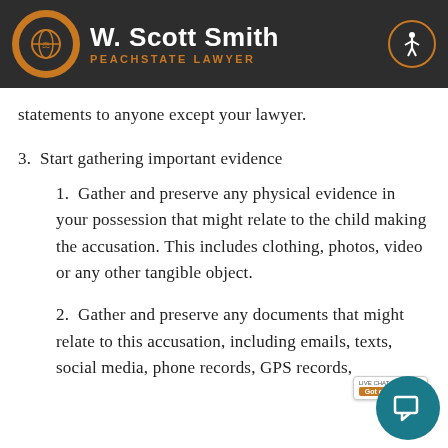W. Scott Smith — PEACHSTATE LAWYER
preparing for your jury trial. Do not make statements to anyone except your lawyer.
3. Start gathering important evidence
1. Gather and preserve any physical evidence in your possession that might relate to the child making the accusation. This includes clothing, photos, video or any other tangible object.
2. Gather and preserve any documents that might relate to this accusation, including emails, texts, social media, phone records, GPS records,